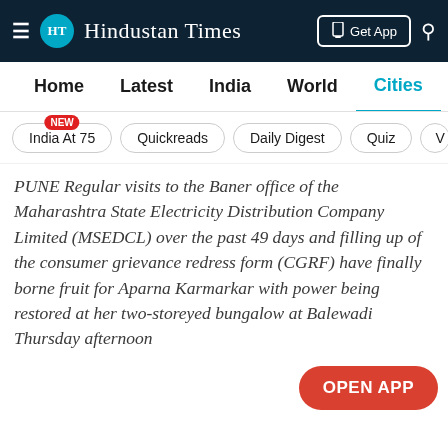HT Hindustan Times — Get App
Home  Latest  India  World  Cities  Entertainment
India At 75 NEW  Quickreads  Daily Digest  Quiz  V
PUNE Regular visits to the Baner office of the Maharashtra State Electricity Distribution Company Limited (MSEDCL) over the past 49 days and filling up of the consumer grievance redress form (CGRF) have finally borne fruit for Aparna Karmarkar with power being restored at her two-storeyed bungalow at Balewadi Thursday afternoon